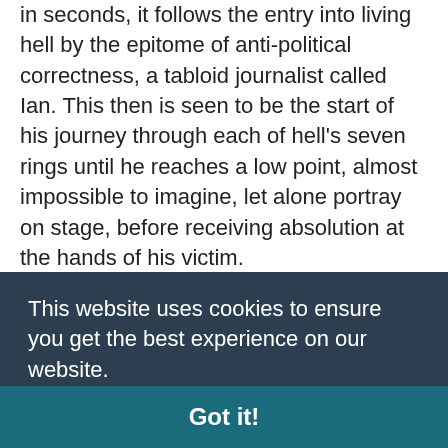in seconds, it follows the entry into living hell by the epitome of anti-political correctness, a tabloid journalist called Ian. This then is seen to be the start of his journey through each of hell's seven rings until he reaches a low point, almost impossible to imagine, let alone portray on stage, before receiving absolution at the hands of his victim.
In the early scenes, it is hard to imagine what might be coming. Ian, who claims to moonlight as a Government-sponsored murderer, invites a girl to his Leeds hotel room...
This website uses cookies to ensure you get the best experience on our website. Learn more
Got it!